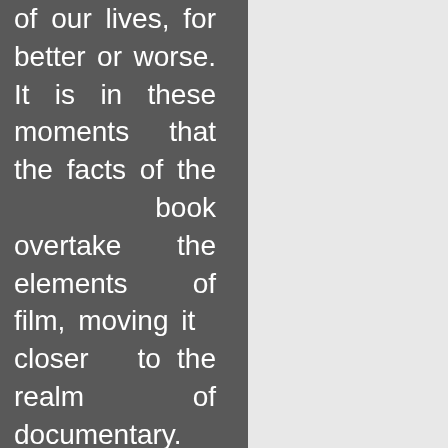of our lives, for better or worse. It is in these moments that the facts of the book overtake the elements of film, moving it closer to the realm of documentary.

But Fast